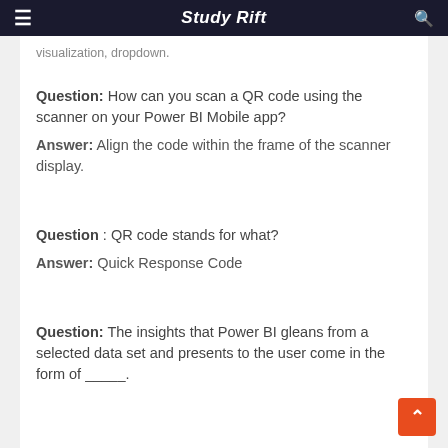Study Rift
visualization, dropdown.
Question: How can you scan a QR code using the scanner on your Power BI Mobile app?
Answer: Align the code within the frame of the scanner display.
Question: QR code stands for what?
Answer: Quick Response Code
Question: The insights that Power BI gleans from a selected data set and presents to the user come in the form of _____.